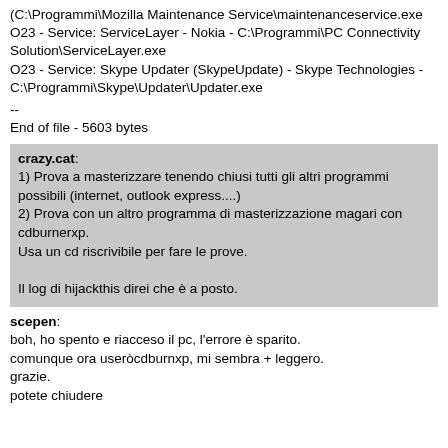(C:\Programmi\Mozilla Maintenance Service\maintenanceservice.exe
O23 - Service: ServiceLayer - Nokia - C:\Programmi\PC Connectivity Solution\ServiceLayer.exe
O23 - Service: Skype Updater (SkypeUpdate) - Skype Technologies - C:\Programmi\Skype\Updater\Updater.exe
--
End of file - 5603 bytes
crazy.cat:
1) Prova a masterizzare tenendo chiusi tutti gli altri programmi possibili (internet, outlook express....)
2) Prova con un altro programma di masterizzazione magari con cdburnerxp.
Usa un cd riscrivibile per fare le prove.

Il log di hijackthis direi che è a posto.
scepen:
boh, ho spento e riacceso il pc, l'errore è sparito.
comunque ora useròcdburnxp, mi sembra + leggero.
grazie.
potete chiudere